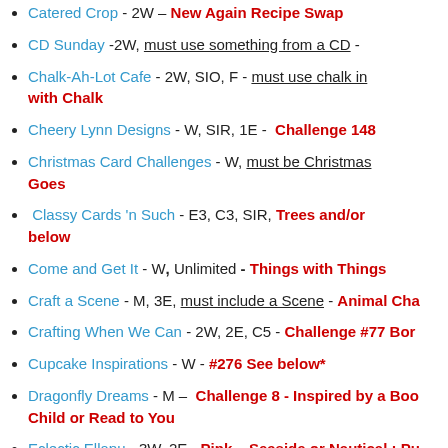Catered Crop - 2W – New Again Recipe Swap
CD Sunday -2W, must use something from a CD -
Chalk-Ah-Lot Cafe - 2W, SIO, F - must use chalk in - with Chalk
Cheery Lynn Designs - W, SIR, 1E - Challenge 148
Christmas Card Challenges - W, must be Christmas - Goes
Classy Cards 'n Such - E3, C3, SIR, Trees and/or - below
Come and Get It - W, Unlimited - Things with Things
Craft a Scene - M, 3E, must include a Scene - Animal Cha
Crafting When We Can - 2W, 2E, C5 - Challenge #77 Bor
Cupcake Inspirations - W - #276 See below*
Dragonfly Dreams - M – Challenge 8 - Inspired by a Boo - Child or Read to You
Eclectic Ellapu - 3W, 2E - Pink – Seaside or Nautical : Pu - Using Watercolors